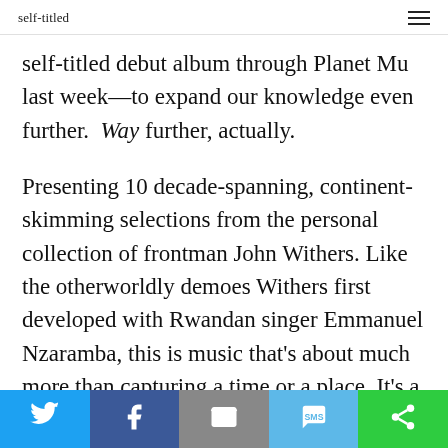self-titled
self-titled debut album through Planet Mu last week—to expand our knowledge even further. Way further, actually.

Presenting 10 decade-spanning, continent-skimming selections from the personal collection of frontman John Withers. Like the otherworldly demoes Withers first developed with Rwandan singer Emmanuel Nzaramba, this is music that's about much more than capturing a time or a place. It's a feeling
Share bar: Twitter, Facebook, Email, SMS, Other